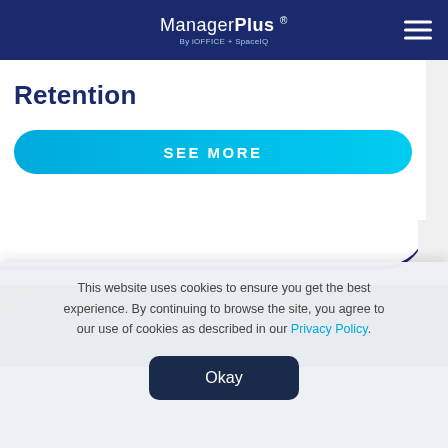ManagerPlus By iOFFICE + SpaceIQ
Retention
SEE MORE
[Figure (photo): Dark blue-tinted interior view of a vehicle dashboard, partial screenshot of a webpage]
This website uses cookies to ensure you get the best experience. By continuing to browse the site, you agree to our use of cookies as described in our Privacy Policy.
Okay